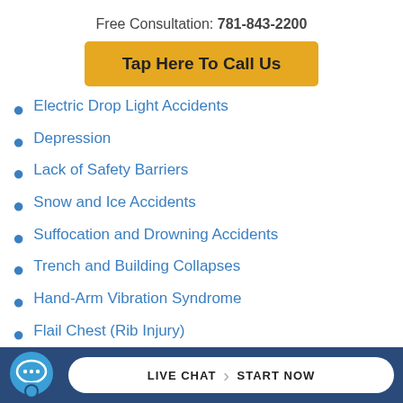Free Consultation: 781-843-2200
Tap Here To Call Us
Electric Drop Light Accidents
Depression
Lack of Safety Barriers
Snow and Ice Accidents
Suffocation and Drowning Accidents
Trench and Building Collapses
Hand-Arm Vibration Syndrome
Flail Chest (Rib Injury)
Hemothorax and Pneumothorax
E... Inju...
LIVE CHAT  START NOW